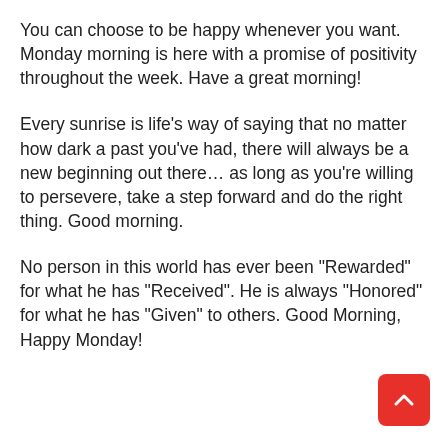You can choose to be happy whenever you want. Monday morning is here with a promise of positivity throughout the week. Have a great morning!
Every sunrise is life's way of saying that no matter how dark a past you've had, there will always be a new beginning out there… as long as you're willing to persevere, take a step forward and do the right thing. Good morning.
No person in this world has ever been "Rewarded" for what he has "Received". He is always "Honored" for what he has "Given" to others. Good Morning, Happy Monday!
[Figure (other): Red square button with white upward-pointing chevron/arrow icon, positioned at bottom right corner]